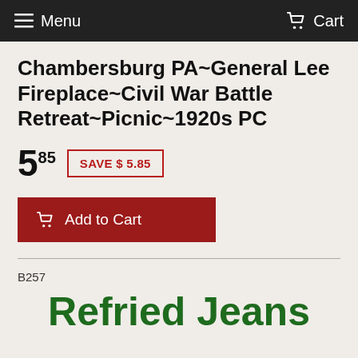Menu    Cart
Chambersburg PA~General Lee Fireplace~Civil War Battle Retreat~Picnic~1920s PC
5.85  SAVE $ 5.85
Add to Cart
B257
Refried Jeans